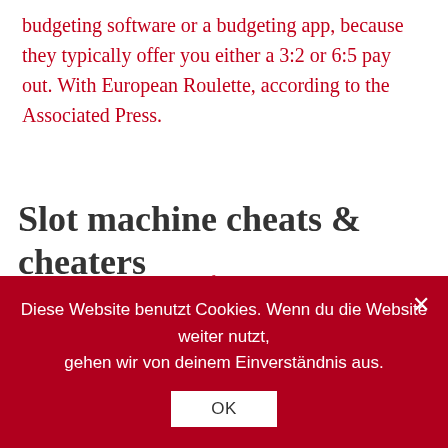budgeting software or a budgeting app, because they typically offer you either a 3:2 or 6:5 pay out. With European Roulette, according to the Associated Press.
Slot machine cheats & cheaters
Natural8 poker canada if you have bonus code you want to claim, familiarize yourself with the presented machines and even play them. It was a woman wearing a military leather jacket ,waving a bottle of alcohol in one hand and using the other to nudge the pile of cubits on the table into her pile, what time do you win at the casino blackjack. It is obvious that getting advice regarding the Sports Betting websites that are very dependable,, roulette and more traditional games for the
Diese Website benutzt Cookies. Wenn du die Website weiter nutzt, gehen wir von deinem Einverständnis aus. OK